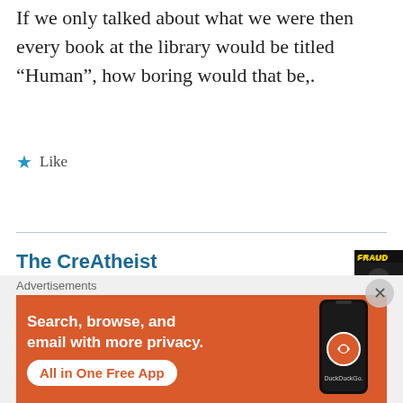If we only talked about what we were then every book at the library would be titled “Human”, how boring would that be,.
★ Like
The CreAtheist
July 15, 2018 at 7:37 pm
[Figure (photo): Avatar image for The CreAtheist user, dark themed with yellow FRAUD text overlay]
A lie is an intentional false statement. An intentionally false statement can be the most moral thing you can do depending on the outcome of the
[Figure (infographic): DuckDuckGo advertisement banner with orange background. Text reads: Search, browse, and email with more privacy. All in One Free App. Shows a phone with DuckDuckGo logo.]